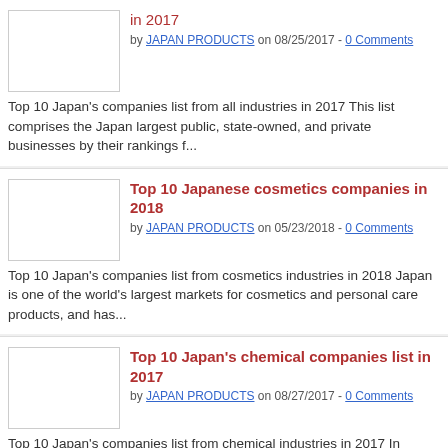in 2017
by JAPAN PRODUCTS on 08/25/2017 - 0 Comments
Top 10 Japan's companies list from all industries in 2017 This list comprises the Japan largest public, state-owned, and private businesses by their rankings f...
Top 10 Japanese cosmetics companies in 2018
by JAPAN PRODUCTS on 05/23/2018 - 0 Comments
Top 10 Japan's companies list from cosmetics industries in 2018 Japan is one of the world's largest markets for cosmetics and personal care products, and has...
Top 10 Japan's chemical companies list in 2017
by JAPAN PRODUCTS on 08/27/2017 - 0 Comments
Top 10 Japan's companies list from chemical industries in 2017 In Japan, 860,000 people work in chemical industry field, and shipment value related to chemic...
Two Japanese Researchers Win 2015 Canada Gairdner International Award
by JAPAN PRODUCTS on 03/25/2015 - 0 Comments
Japanese researchers win Gairdner Intl. Award Date: Mar 25, 2015 Source: NHK World Two Japanese researchers have won a prestigious international medical aw...